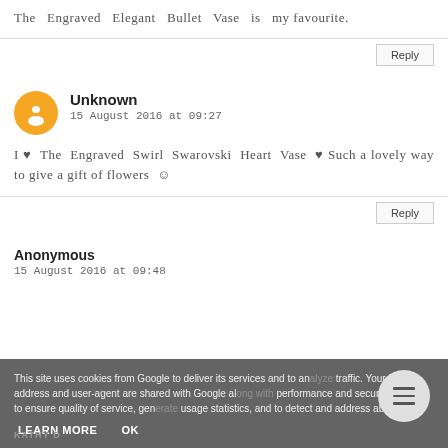The Engraved Elegant Bullet Vase is my favourite.
Unknown
15 August 2016 at 09:27
I ♥ The Engraved Swirl Swarovski Heart Vase ♥ Such a lovely way to give a gift of flowers ☺
Anonymous
15 August 2016 at 09:48
This site uses cookies from Google to deliver its services and to analyze traffic. Your IP address and user-agent are shared with Google along with performance and security metrics to ensure quality of service, generate usage statistics, and to detect and address abuse.
LEARN MORE
OK